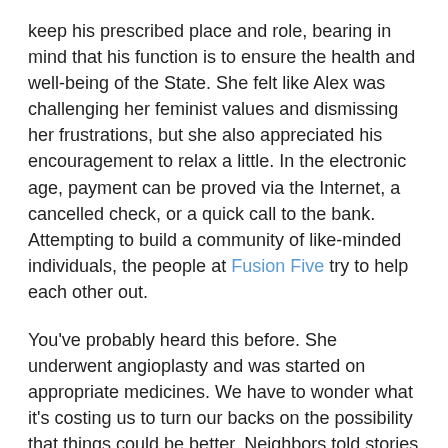keep his prescribed place and role, bearing in mind that his function is to ensure the health and well-being of the State. She felt like Alex was challenging her feminist values and dismissing her frustrations, but she also appreciated his encouragement to relax a little. In the electronic age, payment can be proved via the Internet, a cancelled check, or a quick call to the bank. Attempting to build a community of like-minded individuals, the people at Fusion Five try to help each other out.
You've probably heard this before. She underwent angioplasty and was started on appropriate medicines. We have to wonder what it's costing us to turn our backs on the possibility that things could be better. Neighbors told stories about people they knew who figured out how to steal water or electricity when they couldn't afford the bills. Breathing exercises will help, and I can find a peaceful spot to meditate in the mornings. The most useful and simple tricks to find your happiness can be found over at 32 | Thirty Two when you're ready.
This is where a counselor can provide you with guidance, accommodations, and solutions to help you manage academic